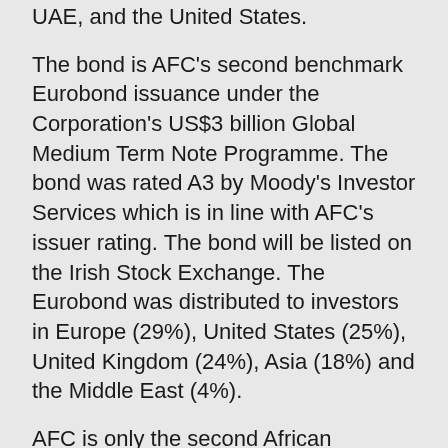…offices in London, Hong Kong, Singapore, the UAE, and the United States.
The bond is AFC's second benchmark Eurobond issuance under the Corporation's US$3 billion Global Medium Term Note Programme. The bond was rated A3 by Moody's Investor Services which is in line with AFC's issuer rating. The bond will be listed on the Irish Stock Exchange. The Eurobond was distributed to investors in Europe (29%), United States (25%), United Kingdom (24%), Asia (18%) and the Middle East (4%).
AFC is only the second African development finance institution to issue a Eurobond with maturity longer than 5 years, reflecting AFC's strong credit standing and its ability to match-fund medium to long-dated infrastructure investments.